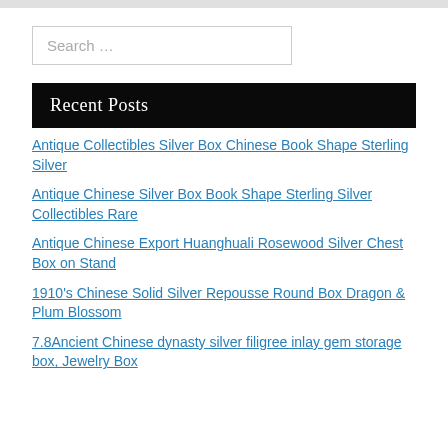[Figure (other): Search input field with placeholder text 'Search ...']
Recent Posts
Antique Collectibles Silver Box Chinese Book Shape Sterling Silver
Antique Chinese Silver Box Book Shape Sterling Silver Collectibles Rare
Antique Chinese Export Huanghuali Rosewood Silver Chest Box on Stand
1910's Chinese Solid Silver Repousse Round Box Dragon & Plum Blossom
7.8Ancient Chinese dynasty silver filigree inlay gem storage box, Jewelry Box